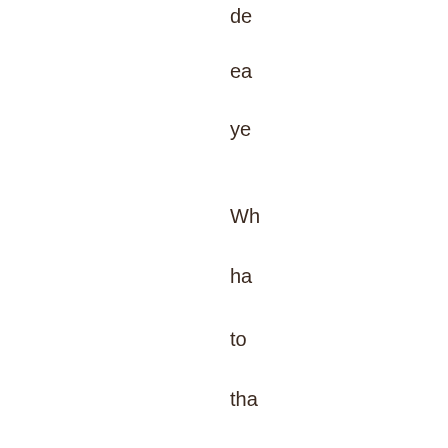de
ea
ye

Wh
ha
to
tha
lov
ma
of
illu
sig
"Tu
to
95
FM
for